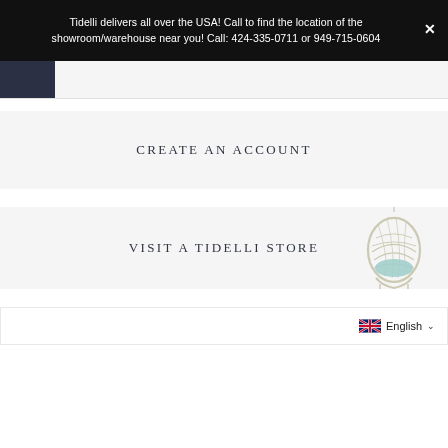Tidelli delivers all over the USA! Call to find the location of the showroom/warehouse near you! Call: 424-335-0711 or 949-715-0604
[Figure (photo): Dark navy woven texture swatch on a light gray strip]
CREATE AN ACCOUNT
VISIT A TIDELLI STORE
[Figure (illustration): White wicker egg/hanging chair with teal/mint cushion]
English